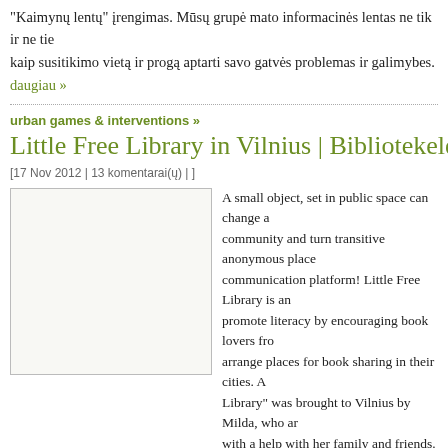"Kaimynų lentų" įrengimas. Mūsų grupė mato informacinės lentas ne tik ir ne tie kaip susitikimo vietą ir progą aptarti savo gatvės problemas ir galimybes.
daugiau »
urban games & interventions »
Little Free Library in Vilnius | Bibliotekelė Antak
[17 Nov 2012 | 13 komentarai(ų) | ]
[Figure (photo): Image placeholder for Little Free Library article]
A small object, set in public space can change a community and turn transitive anonymous place communication platform! Little Free Library is an promote literacy by encouraging book lovers fro arrange places for book sharing in their cities. A Library" was brought to Vilnius by Milda, who ar with a help with her family and friends.
Spalio viduryje Antakalnyje, Tramvajų g-vėje, pradėjo veikti "Bibliotekelė" – viet kartu su savo šeimos nariais ir draugais įkūrė Milda. Vilniuje įkurta Bibliotekelė bibliotekų tinklo dalis. Bibliotekelė jau spėjo suburti skaitytojų klubą: nematydam bendrauja, apsikeisdami knygomis ir atsiliepimais apie jas. Kartu su Dovile nuk pakalbinome ją apie iniciatyvą :)